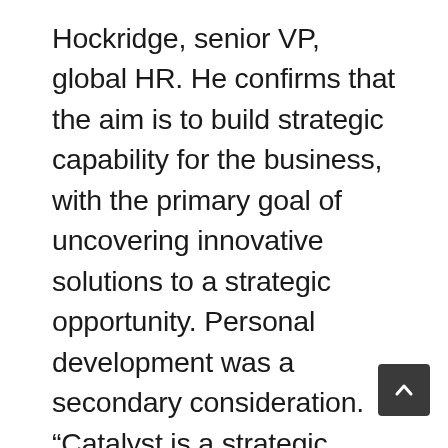Hockridge, senior VP, global HR. He confirms that the aim is to build strategic capability for the business, with the primary goal of uncovering innovative solutions to a strategic opportunity. Personal development was a secondary consideration. “Catalyst is a strategic business exercise: we took some great minds and let them loose on a core strategic issue. I expected good analysis and sound recommendations. The surprise was how very effective the framework offered by Duke Corporate Education proved; better than I expected or had